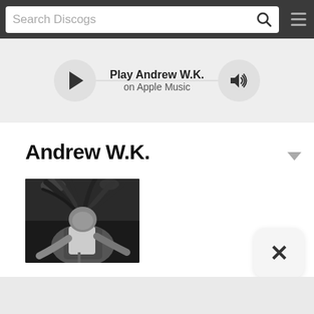Search Discogs
Play Andrew W.K. on Apple Music
Andrew W.K.
[Figure (photo): Black and white photo of Andrew W.K. performing on stage, hair flying, leaning over while playing]
[Figure (other): Close button with X symbol, rounded rectangle, light gray background]